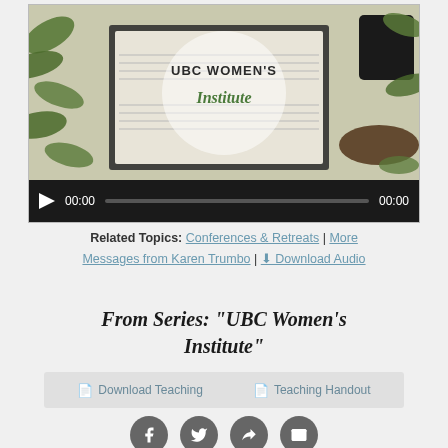[Figure (screenshot): Video player showing UBC Women's Institute logo on a bible with plants and coffee, with playback controls showing 00:00 timestamps]
Related Topics: Conferences & Retreats | More Messages from Karen Trumbo | Download Audio
From Series: "UBC Women's Institute"
Download Teaching  Teaching Handout
[Figure (infographic): Social sharing buttons: Facebook, Twitter, Share, Email]